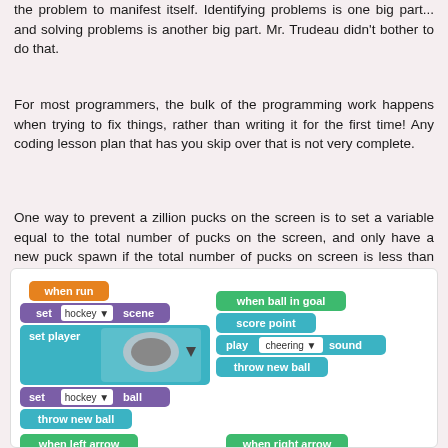the problem to manifest itself. Identifying problems is one big part... and solving problems is another big part. Mr. Trudeau didn't bother to do that.
For most programmers, the bulk of the programming work happens when trying to fix things, rather than writing it for the first time! Any coding lesson plan that has you skip over that is not very complete.
One way to prevent a zillion pucks on the screen is to set a variable equal to the total number of pucks on the screen, and only have a new puck spawn if the total number of pucks on screen is less than whatever arbitrary threshold you choose.
[Figure (screenshot): Scratch programming blocks showing: 'when run', 'set hockey scene', 'set player' with sprite image, 'set hockey ball', 'throw new ball', and on the right: 'when ball in goal', 'score point', 'play cheering sound', 'throw new ball', and at the bottom: 'when left arrow', 'move left', 'when right arrow', 'move right']